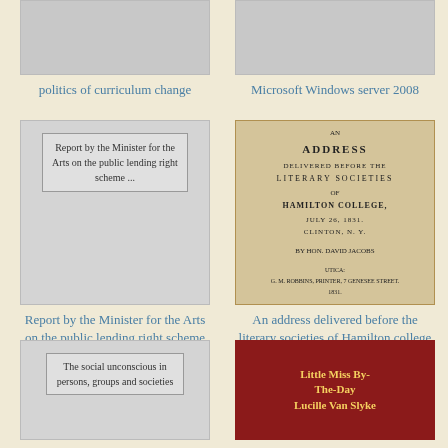[Figure (illustration): Book cover placeholder for 'politics of curriculum change']
politics of curriculum change
[Figure (illustration): Book cover placeholder for 'Microsoft Windows server 2008']
Microsoft Windows server 2008
[Figure (illustration): Book cover with inner card showing text: Report by the Minister for the Arts on the public lending right scheme ...]
Report by the Minister for the Arts on the public lending right scheme ...
[Figure (photo): Old book cover: AN ADDRESS delivered before the LITERARY SOCIETIES of HAMILTON COLLEGE, JULY 26, 1831, CLINTON, N.Y.]
An address delivered before the literary societies of Hamilton college
[Figure (illustration): Book cover with inner card showing text: The social unconscious in persons, groups and societies]
[Figure (photo): Book cover: Little Miss By-The-Day by Lucille Van Slyke]